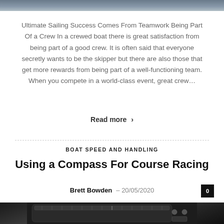[Figure (photo): Top decorative nautical/sailing scene header image strip]
Ultimate Sailing Success Comes From Teamwork Being Part Of a Crew In a crewed boat there is great satisfaction from being part of a good crew. It is often said that everyone secretly wants to be the skipper but there are also those that get more rewards from being part of a well-functioning team. When you compete in a world-class event, great crew...
Read more >
BOAT SPEED AND HANDLING
Using a Compass For Course Racing
Brett Bowden – 20/05/2020
[Figure (photo): Close-up black and white photo of a nautical compass device]